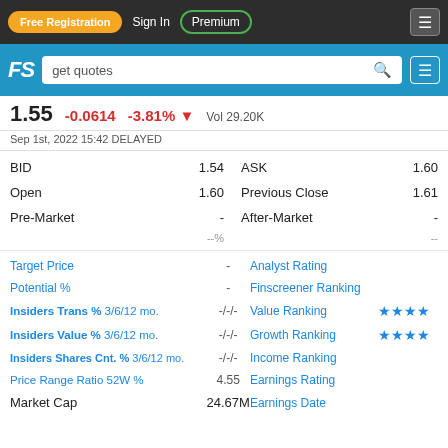Free Registration | Sign In | Premium
FS get quotes
1.55  -0.0614  -3.81%  Vol 29.20K
Sep 1st, 2022 15:42 DELAYED
| Label | Value | Label2 | Value2 |
| --- | --- | --- | --- |
| BID | 1.54 | ASK | 1.60 |
| Open | 1.60 | Previous Close | 1.61 |
| Pre-Market | - | After-Market | - |
|  | --% |  | -- |
| Label | Value | Label2 | Value2 |
| --- | --- | --- | --- |
| Target Price | - | Analyst Rating |  |
| Potential % | - | Finscreener Ranking |  |
| Insiders Trans % 3/6/12 mo. | -/-/- | Value Ranking | ★★★★ |
| Insiders Value % 3/6/12 mo. | -/-/- | Growth Ranking | ★★★★ |
| Insiders Shares Cnt. % 3/6/12 mo. | -/-/- | Income Ranking |  |
| Price Range Ratio 52W % | 4.55 | Earnings Rating |  |
| Market Cap | 24.67M | Earnings Date |  |